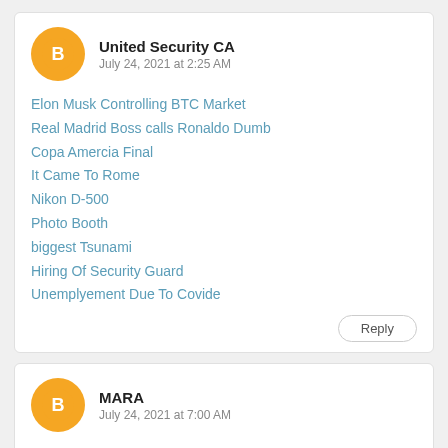[Figure (illustration): Blogger avatar icon - orange circle with white 'B' symbol]
United Security CA
July 24, 2021 at 2:25 AM
Elon Musk Controlling BTC Market
Real Madrid Boss calls Ronaldo Dumb
Copa Amercia Final
It Came To Rome
Nikon D-500
Photo Booth
biggest Tsunami
Hiring Of Security Guard
Unemplyement Due To Covide
Reply
[Figure (illustration): Blogger avatar icon - orange circle with white 'B' symbol]
MARA
July 24, 2021 at 7:00 AM
It was a nice blog post......
best oracle training institute in chennai